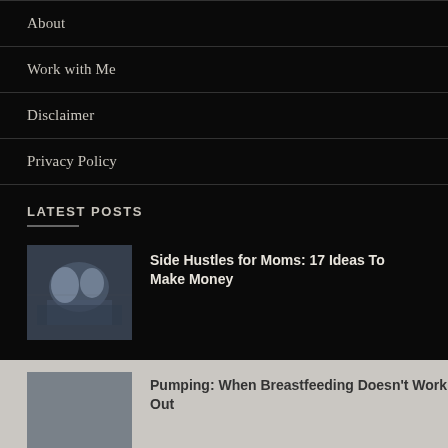About
Work with Me
Disclaimer
Privacy Policy
LATEST POSTS
Side Hustles for Moms: 17 Ideas To Make Money
Pumping: When Breastfeeding Doesn't Work Out